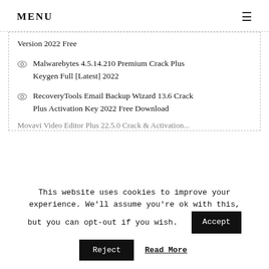MENU
Version 2022 Free
Malwarebytes 4.5.14.210 Premium Crack Plus Keygen Full [Latest] 2022
RecoveryTools Email Backup Wizard 13.6 Crack Plus Activation Key 2022 Free Download
Movavi Video Editor Plus 22.5.0 Crack & Activation...
This website uses cookies to improve your experience. We'll assume you're ok with this, but you can opt-out if you wish.
Accept
Reject
Read More